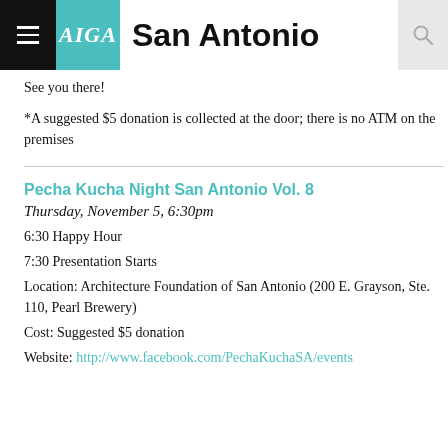AIGA San Antonio
See you there!
*A suggested $5 donation is collected at the door; there is no ATM on the premises
Pecha Kucha Night San Antonio Vol. 8
Thursday, November 5, 6:30pm
6:30 Happy Hour
7:30 Presentation Starts
Location: Architecture Foundation of San Antonio (200 E. Grayson, Ste. 110, Pearl Brewery)
Cost: Suggested $5 donation
Website: http://www.facebook.com/PechaKuchaSA/events